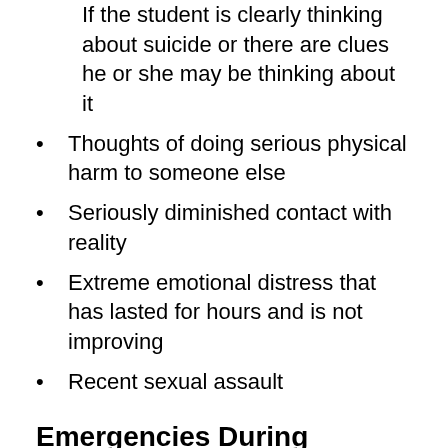If the student is clearly thinking about suicide or there are clues he or she may be thinking about it
Thoughts of doing serious physical harm to someone else
Seriously diminished contact with reality
Extreme emotional distress that has lasted for hours and is not improving
Recent sexual assault
Emergencies During Business Hours
If the situation is an emergency, students are encouraged to contact Student Life, campus security or 911. For crisis drop-in counseling